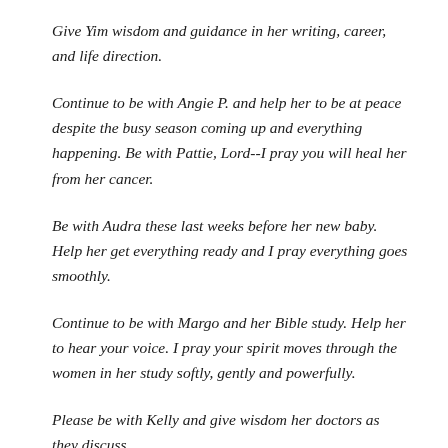Give Yim wisdom and guidance in her writing, career, and life direction.
Continue to be with Angie P. and help her to be at peace despite the busy season coming up and everything happening. Be with Pattie, Lord--I pray you will heal her from her cancer.
Be with Audra these last weeks before her new baby. Help her get everything ready and I pray everything goes smoothly.
Continue to be with Margo and her Bible study. Help her to hear your voice. I pray your spirit moves through the women in her study softly, gently and powerfully.
Please be with Kelly and give wisdom her doctors as they discuss